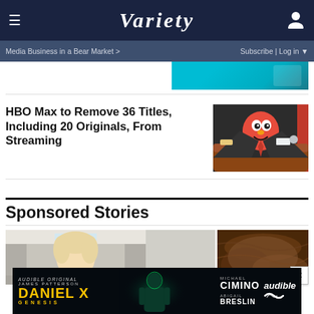VARIETY
Media Business in a Bear Market >
Subscribe | Log in
HBO Max to Remove 36 Titles, Including 20 Originals, From Streaming
[Figure (photo): Elmo from Sesame Street dressed in a suit sitting at a news desk]
Sponsored Stories
[Figure (photo): Person with blonde hair in hallway]
[Figure (photo): Brown textured close-up image]
[Figure (advertisement): Audible Original advertisement featuring Daniel X Genesis with Michael Cimino and Abigail Breslin]